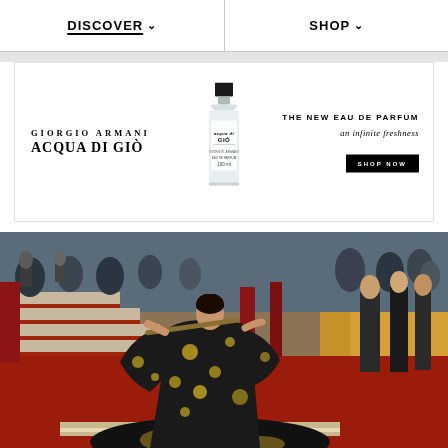DISCOVER   SHOP
[Figure (infographic): Giorgio Armani Acqua di Giò advertisement banner with perfume bottle and text: THE NEW EAU DE PARFUM an infinite freshness, SHOP NOW button]
[Figure (photo): Person in ornate black and gold floral kimono-style gown playing a flute on red-carpeted stairs at what appears to be the Met Gala, surrounded by photographers and attendees]